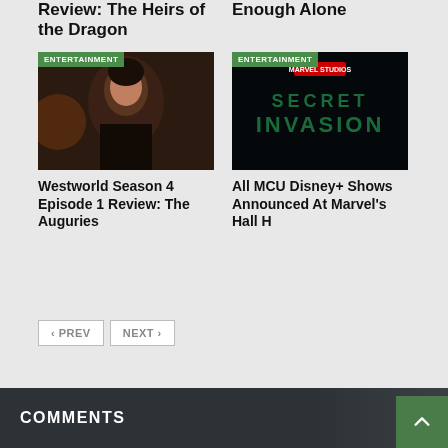Review: The Heirs of the Dragon
Enough Alone
[Figure (photo): Entertainment card: woman in dark scene for Westworld Season 4 Episode 1 Review: The Auguries]
Westworld Season 4 Episode 1 Review: The Auguries
[Figure (photo): Entertainment card: Secret Invasion Marvel Studios title card on dark background]
All MCU Disney+ Shows Announced At Marvel's Hall H
‹ PREV
NEXT ›
COMMENTS